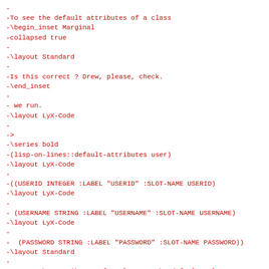-
-To see the default attributes of a class
-\begin_inset Marginal
-collapsed true
-
-\layout Standard
-
-Is this correct ? Drew, please, check.
-\end_inset
-
- we run.
-\layout LyX-Code
-
->
-\series bold
-(lisp-on-lines::default-attributes user)
-\layout LyX-Code
-
-((USERID INTEGER :LABEL "USERID" :SLOT-NAME USERID)
-\layout LyX-Code
-
- (USERNAME STRING :LABEL "USERNAME" :SLOT-NAME USERNAME)
-\layout LyX-Code
-
-  (PASSWORD STRING :LABEL "PASSWORD" :SLOT-NAME PASSWORD))
-\layout Standard
-
-To set the attributes of a class to the default values we u
-\layout LyX-Code
-
-
->
-\series bold